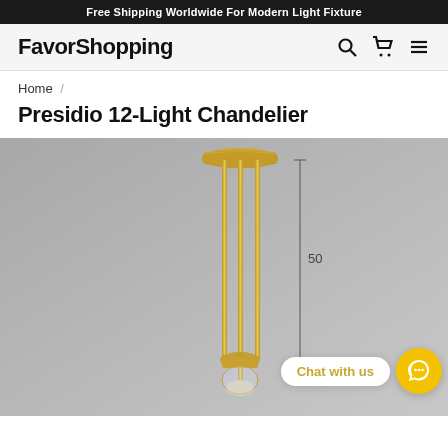Free Shipping Worldwide For Modern Light Fixture
FavorShopping
Home /
Presidio 12-Light Chandelier
[Figure (photo): Product photo of a gold/brass chandelier with vertical rods hanging from a ceiling canopy. A dimension annotation shows '50' on the side. A 'Chat with us' widget appears in the bottom right corner overlay.]